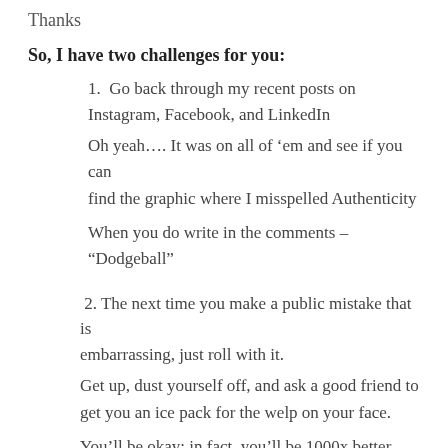Thanks
So, I have two challenges for you:
1.  Go back through my recent posts on Instagram, Facebook, and LinkedIn
Oh yeah…. It was on all of ‘em and see if you can find the graphic where I misspelled Authenticity
When you do write in the comments – “Dodgeball”
2. The next time you make a public mistake that is embarrassing, just roll with it.
Get up, dust yourself off, and ask a good friend to get you an ice pack for the welp on your face.
You’ll be okay; in fact, you’ll be 1000x better than